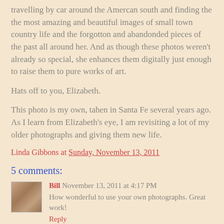travelling by car around the Amercan south and finding the the most amazing and beautiful images of small town country life and the forgotton and abandonded pieces of the past all around her. And as though these photos weren't already so special, she enhances them digitally just enough to raise them to pure works of art.
Hats off to you, Elizabeth.
This photo is my own, tahen in Santa Fe several years ago. As I learn from Elizabeth's eye, I am revisiting a lot of my older photographs and giving them new life.
Linda Gibbons at Sunday, November 13, 2011
5 comments:
[Figure (photo): Small avatar photo of commenter Bill]
Bill November 13, 2011 at 4:17 PM
How wonderful to use your own photographs. Great work!
Reply